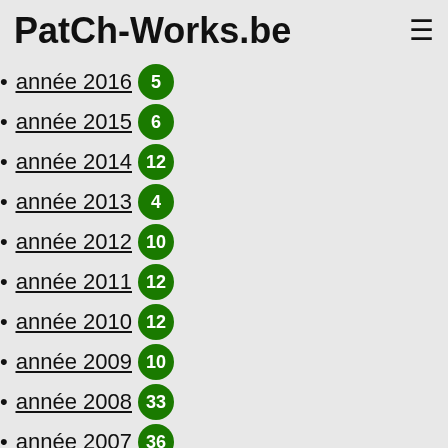PatCh-Works.be
année 2016 5
année 2015 6
année 2014 12
année 2013 4
année 2012 10
année 2011 12
année 2010 12
année 2009 10
année 2008 33
année 2007 36
année 2006 2
année 2003 3
année 2002 5
année 2001 1
année 2000 3
année 1999 6
année 1998 6